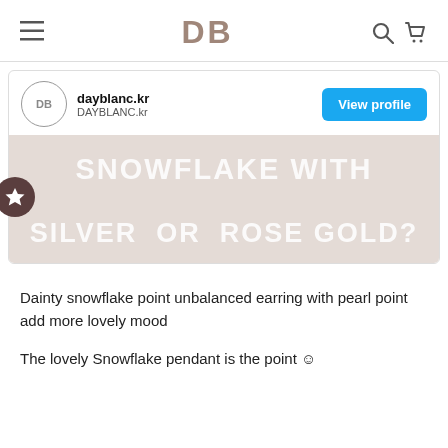DB
[Figure (screenshot): Social media profile card for dayblanc.kr with a banner reading 'SNOWFLAKE WITH SILVER OR ROSE GOLD?' and a View profile button]
Dainty snowflake point unbalanced earring with pearl point add more lovely mood
The lovely Snowflake pendant is the point ☺